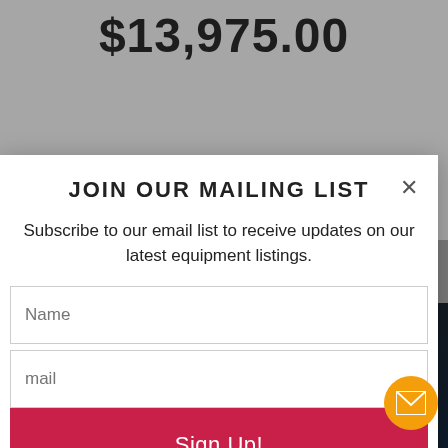$13,975.00
JOIN OUR MAILING LIST
Subscribe to our email list to receive updates on our latest equipment listings.
Name
mail
Sign Up!
[Figure (screenshot): Video thumbnail showing laser device and website URL www.rockbottomlasers.com with phone number 800-794-1095]
www.rockbottomlasers.com
800-794-1095